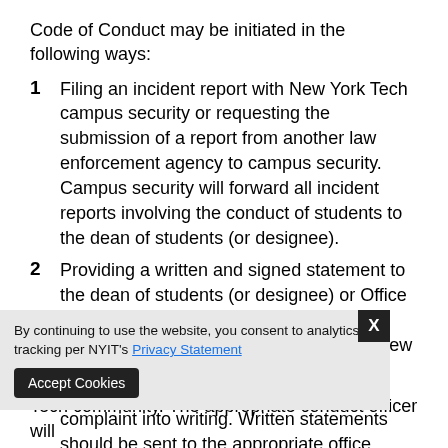Code of Conduct may be initiated in the following ways:
Filing an incident report with New York Tech campus security or requesting the submission of a report from another law enforcement agency to campus security. Campus security will forward all incident reports involving the conduct of students to the dean of students (or designee).
Providing a written and signed statement to the dean of students (or designee) or Office of Residence Life. In complaints involving alleged Gender-Based Misconduct, the New York Tech official receiving the complaint may transcribe the complainant's verbal complaint into writing. Written statements should be sent to the appropriate office responsible for handling the incident, based on the person(s) involved or location of incident (see Section C. below). Any
Tech community. The appropriate conduct officer will